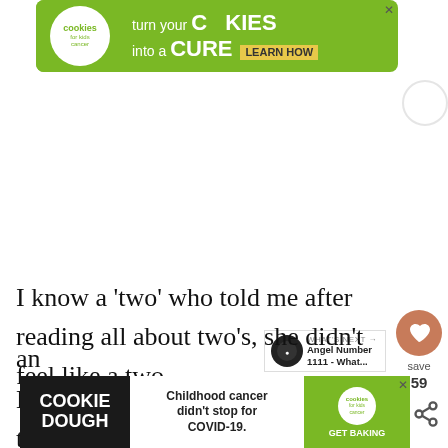[Figure (other): Green banner advertisement: 'cookies for kids cancer — turn your COOKIES into a CURE LEARN HOW']
I know a ‘two’ who told me after reading all about two’s, she didn’t feel like a two. My response: well, that is the message your
[Figure (other): Bottom advertisement: COOKIE DOUGH — Childhood cancer didn't stop for COVID-19. — cookies for kids cancer — GET BAKING]